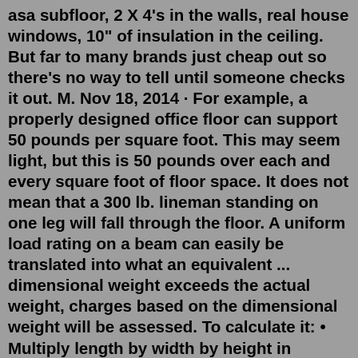asa subfloor, 2 X 4's in the walls, real house windows, 10" of insulation in the ceiling. But far to many brands just cheap out so there's no way to tell until someone checks it out. M. Nov 18, 2014 · For example, a properly designed office floor can support 50 pounds per square foot. This may seem light, but this is 50 pounds over each and every square foot of floor space. It does not mean that a 300 lb. lineman standing on one leg will fall through the floor. A uniform load rating on a beam can easily be translated into what an equivalent ... dimensional weight exceeds the actual weight, charges based on the dimensional weight will be assessed. To calculate it: • Multiply length by width by height in inches. • Divide by 139 for U.S., Puerto Rico, and international shipments. • Compare the dimensional weight and actual weight. Your chargeable weight is the greater of the actualKnowing a mattress's weight limit can help you determine if a bed is right for you. Here, learn about mattress weight limits and how to choose the right bed for your body type. The weight they can...